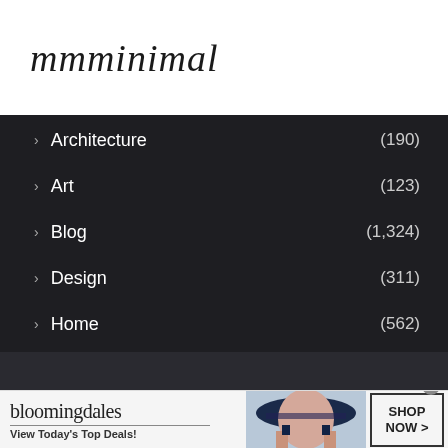mmminimal
> Architecture (190)
> Art (123)
> Blog (1,324)
> Design (311)
> Home (562)
> Other (482)
[Figure (photo): Bloomingdales advertisement banner with logo, tagline 'View Today's Top Deals!', a woman in a wide-brim hat, and a SHOP NOW button]